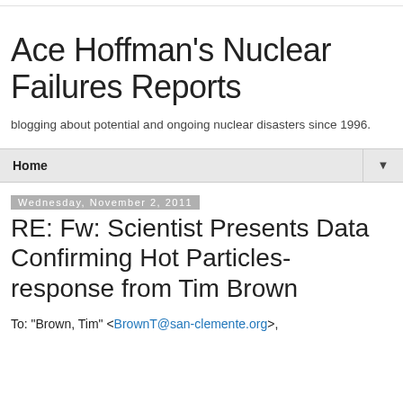Ace Hoffman's Nuclear Failures Reports
blogging about potential and ongoing nuclear disasters since 1996.
Home
Wednesday, November 2, 2011
RE: Fw: Scientist Presents Data Confirming Hot Particles- response from Tim Brown
To: "Brown, Tim" <BrownT@san-clemente.org>,